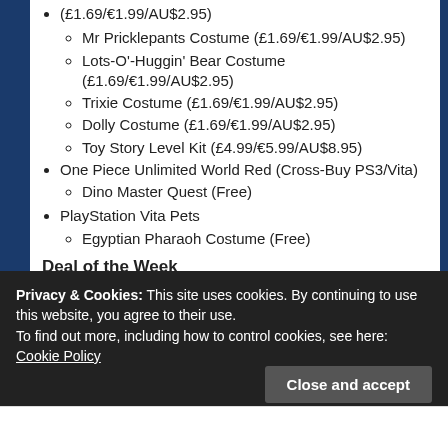(£1.69/€1.99/AU$2.95)
Mr Pricklepants Costume (£1.69/€1.99/AU$2.95)
Lots-O'-Huggin' Bear Costume (£1.69/€1.99/AU$2.95)
Trixie Costume (£1.69/€1.99/AU$2.95)
Dolly Costume (£1.69/€1.99/AU$2.95)
Toy Story Level Kit (£4.99/€5.99/AU$8.95)
One Piece Unlimited World Red (Cross-Buy PS3/Vita)
Dino Master Quest (Free)
PlayStation Vita Pets
Egyptian Pharaoh Costume (Free)
Deal of the Week
Privacy & Cookies: This site uses cookies. By continuing to use this website, you agree to their use. To find out more, including how to control cookies, see here: Cookie Policy
Close and accept